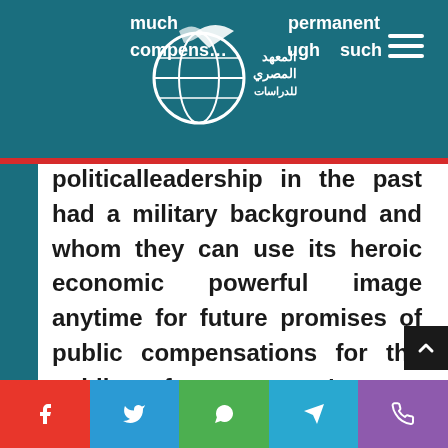much … permanent compensation … through such
political leadership in the past had a military background and whom they can use its heroic economic powerful image anytime for future promises of public compensations for the public of past wars' mass destruction.
The Regional and International interests in Egypt's militarily victimhood:
f  ✓  WhatsApp  Telegram  Phone